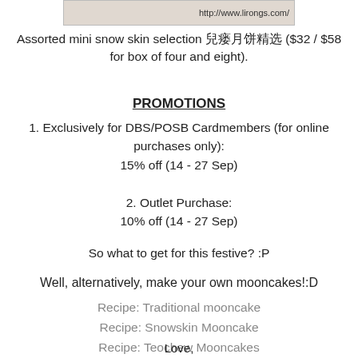[Figure (photo): Partial image crop with URL label http://www.lirongs.com/]
Assorted mini snow skin selection 冰皮月饼精选 ($32 / $58 for box of four and eight).
PROMOTIONS
1. Exclusively for DBS/POSB Cardmembers (for online purchases only):
15% off (14 - 27 Sep)
2. Outlet Purchase:
10% off (14 - 27 Sep)
So what to get for this festive? :P
Well, alternatively, make your own mooncakes!:D
Recipe: Traditional mooncake
Recipe: Snowskin Mooncake
Recipe: Teochew Mooncakes
Love,
Lirong